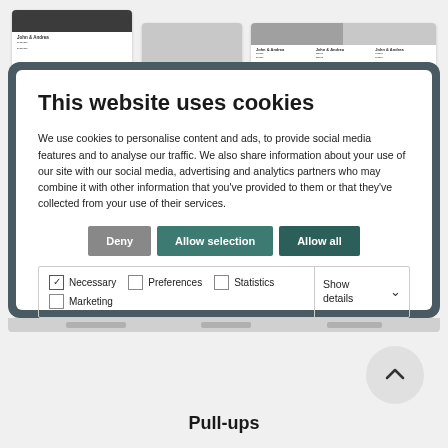[Figure (screenshot): Top strip showing website thumbnail cards partially visible behind cookie modal]
[Figure (screenshot): Cookie consent modal dialog on a dark blue-gray rounded background with white inner panel]
This website uses cookies
We use cookies to personalise content and ads, to provide social media features and to analyse our traffic. We also share information about your use of our site with our social media, advertising and analytics partners who may combine it with other information that you've provided to them or that they've collected from your use of their services.
Deny | Allow selection | Allow all
Necessary  Preferences  Statistics  Marketing  Show details
[Figure (screenshot): Scroll-to-top button (circular arrow up) at bottom right]
Pull-ups